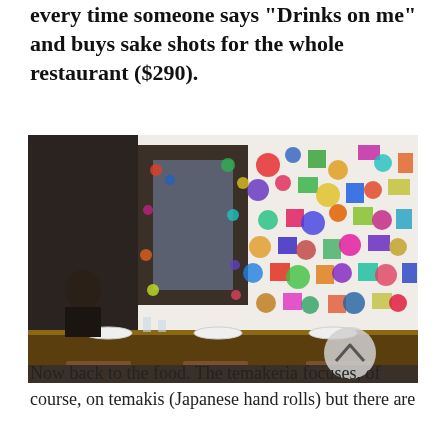every time someone says "Drinks on me" and buys sake shots for the whole restaurant ($290).
[Figure (photo): Interior photo of a restaurant bar/counter area. The wall behind the counter is covered densely with colorful stickers of various shapes and a large mirror frame also covered in stickers. The bar counter is wooden with white plates set out and bar stools in front. Dim atmospheric lighting. A scroll-up navigation button (chevron in a circle) is overlaid at bottom right.]
Now back to the food. The temakeria focuses, of course, on temakis (Japanese hand rolls) but there are